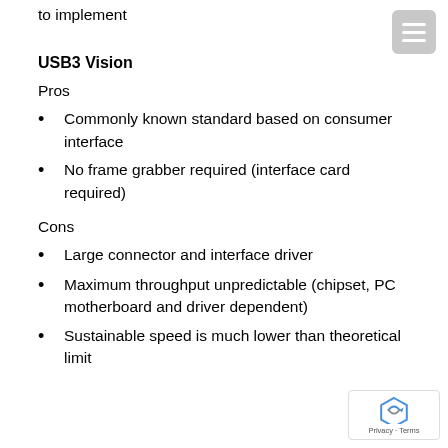to implement
USB3 Vision
Pros
Commonly known standard based on consumer interface
No frame grabber required (interface card required)
Cons
Large connector and interface driver
Maximum throughput unpredictable (chipset, PC motherboard and driver dependent)
Sustainable speed is much lower than theoretical limit